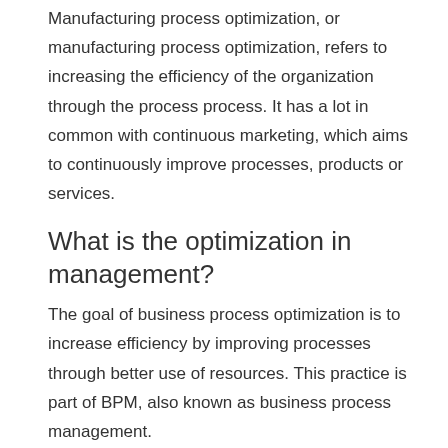Manufacturing process optimization, or manufacturing process optimization, refers to increasing the efficiency of the organization through the process process. It has a lot in common with continuous marketing, which aims to continuously improve processes, products or services.
What is the optimization in management?
The goal of business process optimization is to increase efficiency by improving processes through better use of resources. This practice is part of BPM, also known as business process management.
Why optimization is important in business?
Optimization plays a very important role especially in business because it helps to reduce costs which can lead to higher profits and success in competitive struggle. There are several optimization methods used: classic and methods that use soft…